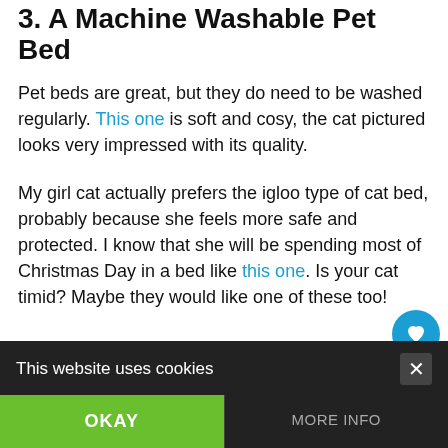3. A Machine Washable Pet Bed
Pet beds are great, but they do need to be washed regularly. This one is soft and cosy, the cat pictured looks very impressed with its quality.
My girl cat actually prefers the igloo type of cat bed, probably because she feels more safe and protected. I know that she will be spending most of Christmas Day in a bed like this one. Is your cat timid? Maybe they would like one of these too!
[Figure (infographic): Social sharing sidebar with heart button (count 1) and share button]
[Figure (infographic): What's Next promo box with thumbnail and text: Homemade Gifts For...]
This website uses cookies
OKAY
MORE INFO